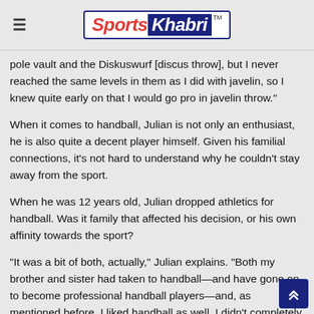Sports Khabri
pole vault and the Diskuswurf [discus throw], but I never reached the same levels in them as I did with javelin, so I knew quite early on that I would go pro in javelin throw."
When it comes to handball, Julian is not only an enthusiast, he is also quite a decent player himself. Given his familial connections, it's not hard to understand why he couldn't stay away from the sport.
When he was 12 years old, Julian dropped athletics for handball. Was it family that affected his decision, or his own affinity towards the sport?
"It was a bit of both, actually," Julian explains. "Both my brother and sister had taken to handball—and have gone on to become professional handball players—and, as mentioned before, I liked handball as well. I didn't completely drop track and field, id